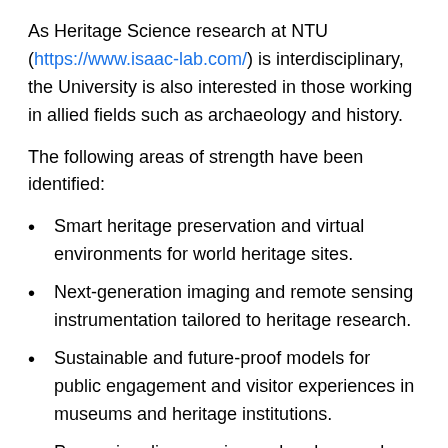As Heritage Science research at NTU (https://www.isaac-lab.com/) is interdisciplinary, the University is also interested in those working in allied fields such as archaeology and history.
The following areas of strength have been identified:
Smart heritage preservation and virtual environments for world heritage sites.
Next-generation imaging and remote sensing instrumentation tailored to heritage research.
Sustainable and future-proof models for public engagement and visitor experiences in museums and heritage institutions.
Preserving disappearing and endangered cultural heritage preservation in conflict and post-conflict contexts.
Interdisciplinary research in the application of physical sciences to archaeology, history, and conservation with